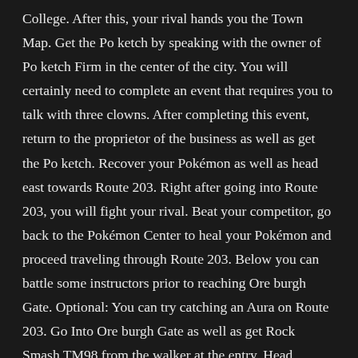College. After this, your rival hands you the Town Map. Get the Po ketch by speaking with the owner of Po ketch Firm in the center of the city. You will certainly need to complete an event that requires you to talk with three clowns. After completing this event, return to the proprietor of the business as well as get the Po ketch. Recover your Pokémon as well as head east towards Route 203. Right after going into Route 203, you will fight your rival. Beat your competitor, go back to the Pokémon Center to heal your Pokémon and proceed traveling through Route 203. Below you can battle some instructors prior to reaching Ore burgh Gate. Optional: You can try catching an Aura on Route 203. Go Into Ore burgh Gate as well as get Rock Smash TM98 from the walker at the entry. Head eastern, fight the two instructors in the way and exit Ore burgh Entrance.